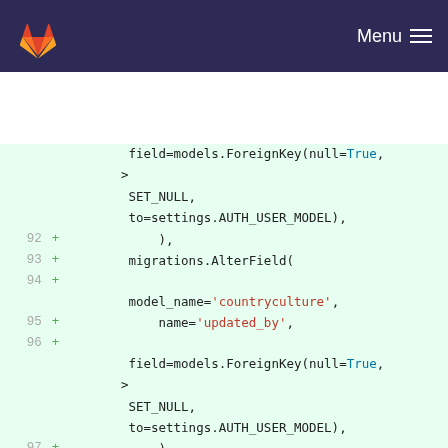GitLab navigation bar with logo and Menu button
[Figure (screenshot): GitLab diff view showing Python migration code lines 92–101 with added lines (green +) on a light green background. Code shows migrations.AlterField calls for countryculture and countrydri models with ForeignKey fields.]